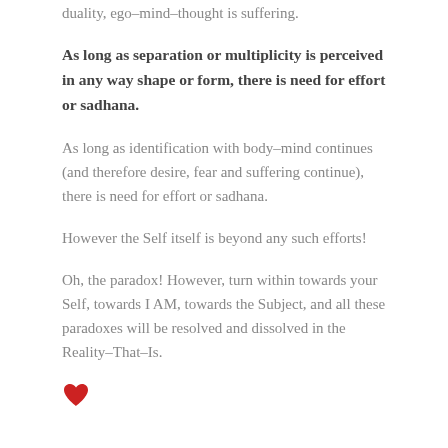duality, ego-mind-thought is suffering.
As long as separation or multiplicity is perceived in any way shape or form, there is need for effort or sadhana.
As long as identification with body-mind continues (and therefore desire, fear and suffering continue), there is need for effort or sadhana.
However the Self itself is beyond any such efforts!
Oh, the paradox! However, turn within towards your Self, towards I AM, towards the Subject, and all these paradoxes will be resolved and dissolved in the Reality-That-Is.
[Figure (illustration): A red heart emoji/icon symbol]